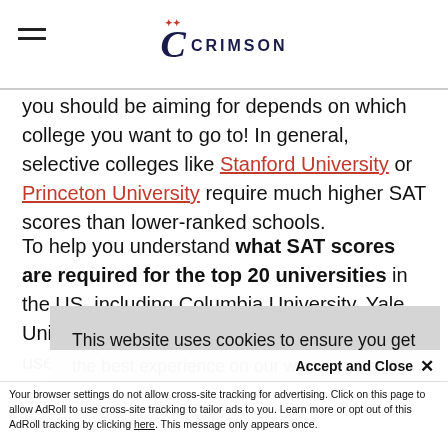Crimson Education logo and navigation
you should be aiming for depends on which college you want to go to! In general, selective colleges like Stanford University or Princeton University require much higher SAT scores than lower-ranked schools.
To help you understand what SAT scores are required for the top 20 universities in the US, including Columbia University, Yale University, and Harvard University, you can use our free college admissions calculator to find out your chances of admission to any of the colleges available.
[Figure (screenshot): Cookie consent banner overlay reading: This website uses cookies to ensure you get the best experience on our website. Learn more]
Accept and Close ×
Your browser settings do not allow cross-site tracking for advertising. Click on this page to allow AdRoll to use cross-site tracking to tailor ads to you. Learn more or opt out of this AdRoll tracking by clicking here. This message only appears once.